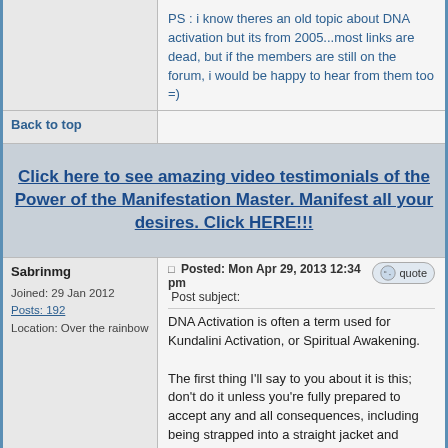PS : i know theres an old topic about DNA activation but its from 2005...most links are dead, but if the members are still on the forum, i would be happy to hear from them too =)
Back to top
[Figure (other): Advertisement banner: Click here to see amazing video testimonials of the Power of the Manifestation Master. Manifest all your desires. Click HERE!!!]
Sabrinmg
Posted: Mon Apr 29, 2013 12:34 pm
Post subject:
Joined: 29 Jan 2012
Posts: 192
Location: Over the rainbow
DNA Activation is often a term used for Kundalini Activation, or Spiritual Awakening.

The first thing I'll say to you about it is this; don't do it unless you're fully prepared to accept any and all consequences, including being strapped into a straight jacket and locked in a padded cell.